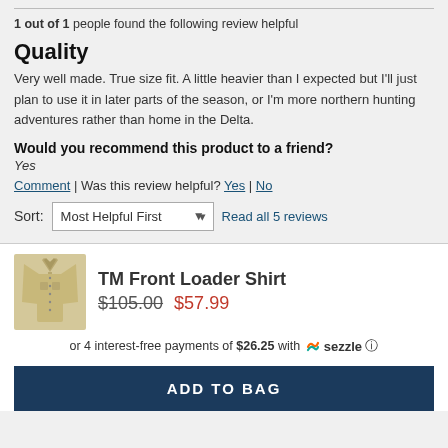1 out of 1 people found the following review helpful
Quality
Very well made. True size fit. A little heavier than I expected but I'll just plan to use it in later parts of the season, or I'm more northern hunting adventures rather than home in the Delta.
Would you recommend this product to a friend? Yes
Comment | Was this review helpful? Yes | No
Sort: Most Helpful First   Read all 5 reviews
[Figure (photo): Product photo of TM Front Loader Shirt, olive/tan colored long-sleeve shirt]
TM Front Loader Shirt $105.00 $57.99
or 4 interest-free payments of $26.25 with Sezzle
ADD TO BAG